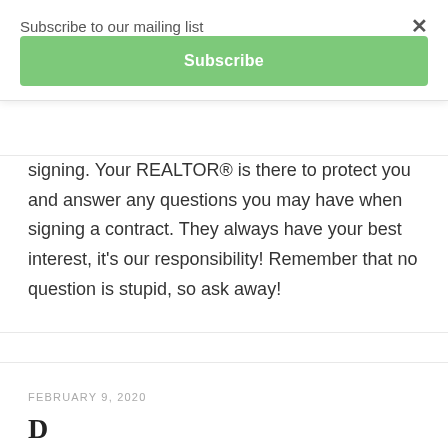Subscribe to our mailing list
Subscribe
signing. Your REALTOR® is there to protect you and answer any questions you may have when signing a contract. They always have your best interest, it's our responsibility! Remember that no question is stupid, so ask away!
FEBRUARY 9, 2020
D...